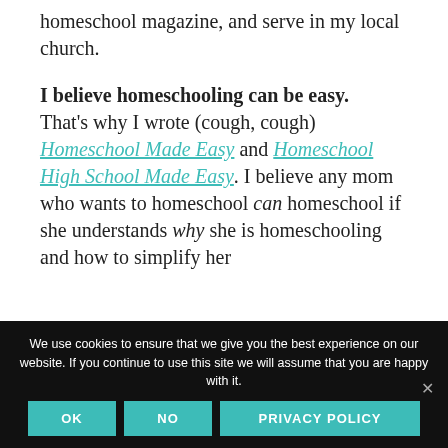homeschool magazine, and serve in my local church.
I believe homeschooling can be easy. That's why I wrote (cough, cough) Homeschool Made Easy and Homeschool High School Made Easy. I believe any mom who wants to homeschool can homeschool if she understands why she is homeschooling and how to simplify her
We use cookies to ensure that we give you the best experience on our website. If you continue to use this site we will assume that you are happy with it.
OK | NO | PRIVACY POLICY